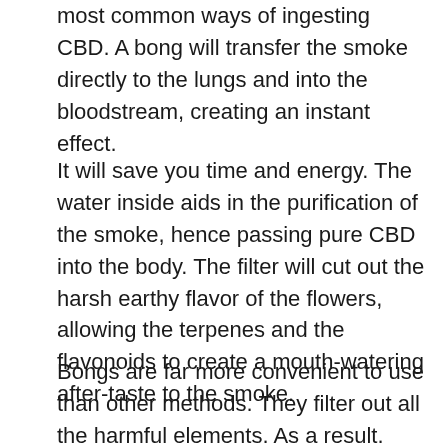most common ways of ingesting CBD. A bong will transfer the smoke directly to the lungs and into the bloodstream, creating an instant effect.
It will save you time and energy. The water inside aids in the purification of the smoke, hence passing pure CBD into the body. The filter will cut out the harsh earthy flavor of the flowers, allowing the terpenes and the flavonoids to create a mouth-watering after-taste to the smoke.
Bongs are far more convenient to use than other methods. They filter out all the harmful elements. As a result. They’re highly popular among Hemp users.
■
What Is A Bong?